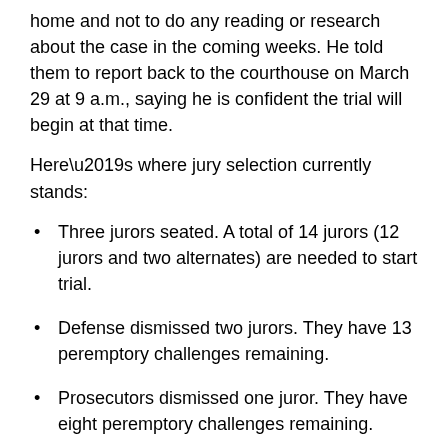home and not to do any reading or research about the case in the coming weeks. He told them to report back to the courthouse on March 29 at 9 a.m., saying he is confident the trial will begin at that time.
Here’s where jury selection currently stands:
Three jurors seated. A total of 14 jurors (12 jurors and two alternates) are needed to start trial.
Defense dismissed two jurors. They have 13 peremptory challenges remaining.
Prosecutors dismissed one juror. They have eight peremptory challenges remaining.
Judge dismissed three jurors for cause.